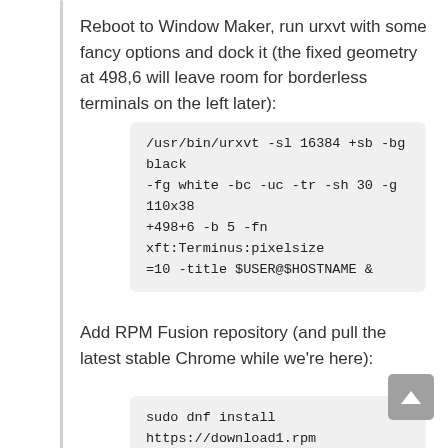Reboot to Window Maker, run urxvt with some fancy options and dock it (the fixed geometry at 498,6 will leave room for borderless terminals on the left later):
/usr/bin/urxvt -sl 16384 +sb -bg black -fg white -bc -uc -tr -sh 30 -g 110x38 +498+6 -b 5 -fn xft:Terminus:pixelsize=10 -title $USER@$HOSTNAME &
Add RPM Fusion repository (and pull the latest stable Chrome while we're here):
sudo dnf install https://download1.rpm fusion.org/free/fedora/rpmfusion-free-release-$(rpm -E %fedora).noarch.rpm sudo dnf config-manager --set-enabled google-chrome sudo dnf install google-chrome-stable